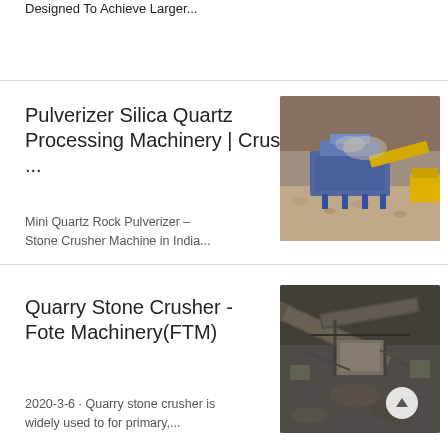Designed To Achieve Larger...
Pulverizer Silica Quartz Processing Machinery | Crusher ...
[Figure (photo): Industrial stone crusher or pulverizer machine in outdoor quarry setting with dust and gravel]
Mini Quartz Rock Pulverizer – Stone Crusher Machine in India...
Quarry Stone Crusher - Fote Machinery(FTM)
[Figure (photo): Aerial view of quarry stone crusher machinery and conveyor belts]
2020-3-6 · Quarry stone crusher is widely used to for primary,...